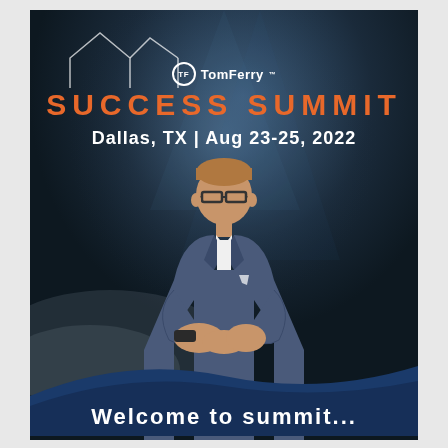[Figure (photo): Event promotional cover page for Tom Ferry Success Summit, Dallas TX, Aug 23-25, 2022. Features a man in a blue-grey suit on a dramatic stage background with spotlight lighting. Bottom has a dark blue wave. Shows Tom Ferry logo at top, orange SUCCESS SUMMIT text, white date/location text, and partial white text at bottom.]